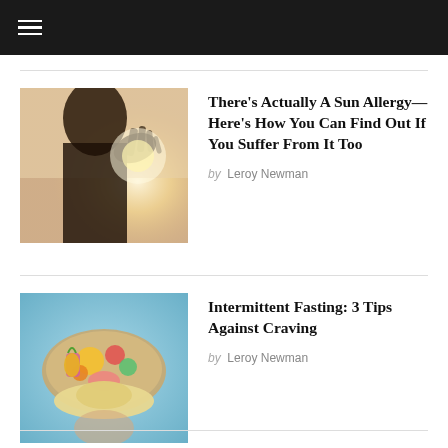There's Actually A Sun Allergy—Here's How You Can Find Out If You Suffer From It Too
by Leroy Newman
Intermittent Fasting: 3 Tips Against Craving
by Leroy Newman